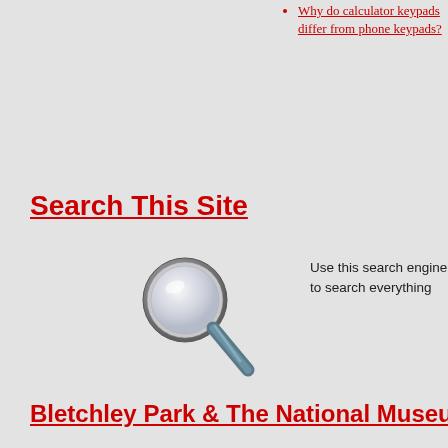Why do calculator keypads differ from phone keypads?
Search This Site
[Figure (illustration): Magnifying glass icon]
Use this search engine to search everything
Bletchley Park & The National Museum
[Figure (photo): Photo of the reconstructed pioneering Colossus computer at The National Museum, Bletchley Park, with two people standing in front of large electronic equipment with cables and panels]
On display at The National Museum is the reconstructed pioneering Col...